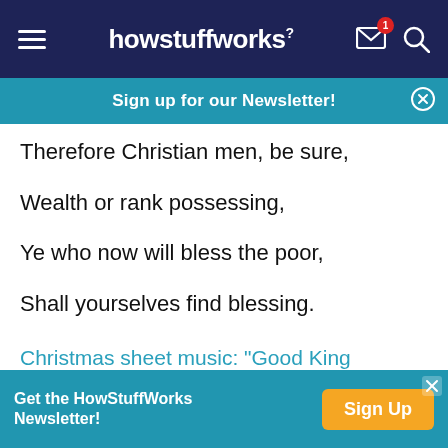howstuffworks
Sign up for our Newsletter!
Therefore Christian men, be sure,
Wealth or rank possessing,
Ye who now will bless the poor,
Shall yourselves find blessing.
Christmas sheet music: "Good King Wenceslas"
Children and adults alike can join in our next song, a
Get the HowStuffWorks Newsletter! Sign Up